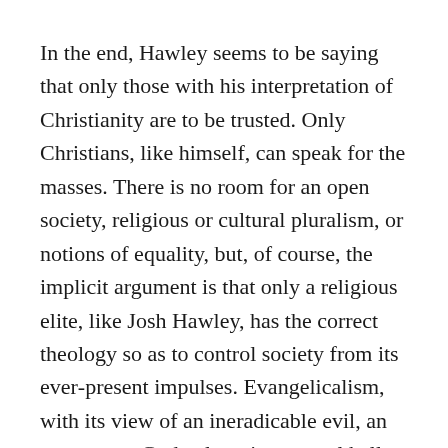In the end, Hawley seems to be saying that only those with his interpretation of Christianity are to be trusted. Only Christians, like himself, can speak for the masses. There is no room for an open society, religious or cultural pluralism, or notions of equality, but, of course, the implicit argument is that only a religious elite, like Josh Hawley, has the correct theology so as to control society from its ever-present impulses. Evangelicalism, with its view of an ineradicable evil, an ever-angry God, a looming eternal hell, and total human depravity, requires the sort of hidden elitism that Hawley is promoting. There is a limited atonement allowing salvation (going to